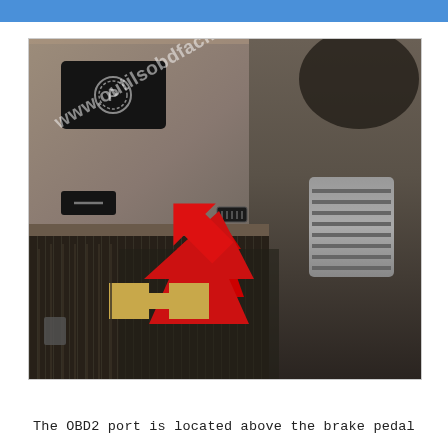[Figure (photo): Photograph of a vehicle interior showing the area above the brake pedal, with a red arrow pointing to the OBD2 port location. A black dashboard panel with buttons is visible on the left, and the brake pedal with Chevrolet logo floor mat is visible. The image has a www.outilsobdfacile.fr watermark.]
The OBD2 port is located above the brake pedal